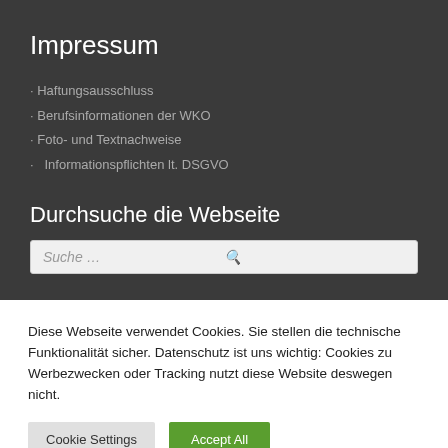Impressum
Haftungsausschluss
Berufsinformationen der WKO
Foto- und Textnachweise
Informationspflichten lt. DSGVO
Durchsuche die Webseite
Suche …
Diese Webseite verwendet Cookies. Sie stellen die technische Funktionalität sicher. Datenschutz ist uns wichtig: Cookies zu Werbezwecken oder Tracking nutzt diese Website deswegen nicht.
Cookie Settings
Accept All